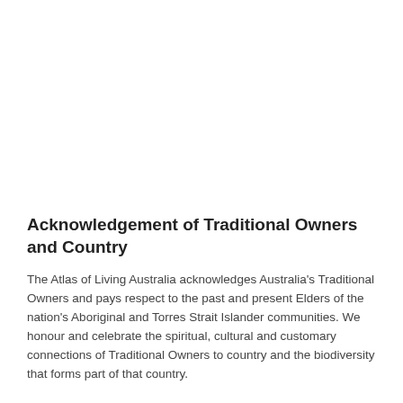Acknowledgement of Traditional Owners and Country
The Atlas of Living Australia acknowledges Australia's Traditional Owners and pays respect to the past and present Elders of the nation's Aboriginal and Torres Strait Islander communities. We honour and celebrate the spiritual, cultural and customary connections of Traditional Owners to country and the biodiversity that forms part of that country.